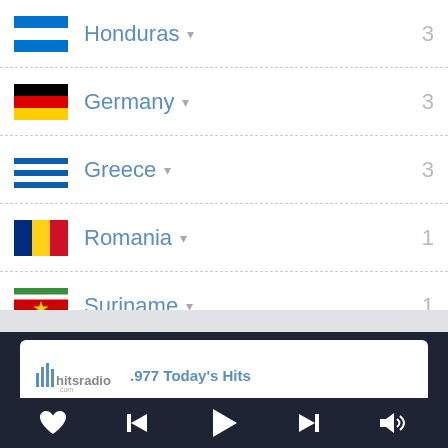Honduras 3
Germany 3
Greece 3
Romania 1
Suriname 1
Brazil 1
[Figure (screenshot): Media player bar showing .977 Today's Hits with hitsradio.com logo]
[Figure (infographic): Playback controls: heart/favorite, skip back, play, skip forward, volume]